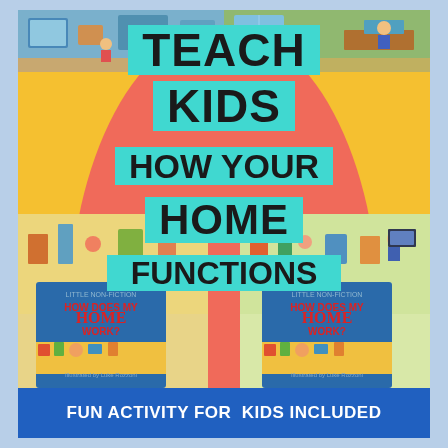[Figure (illustration): Colorful educational poster with yellow background, large coral/salmon ellipse in center, illustrated book cover scenes at top and bottom, two 'How Does My Home Work?' book covers visible at bottom, and blue banner at the bottom. Text overlaid on cyan/turquoise highlight bars reads: TEACH KIDS HOW YOUR HOME FUNCTIONS.]
TEACH KIDS HOW YOUR HOME FUNCTIONS
FUN ACTIVITY FOR KIDS INCLUDED